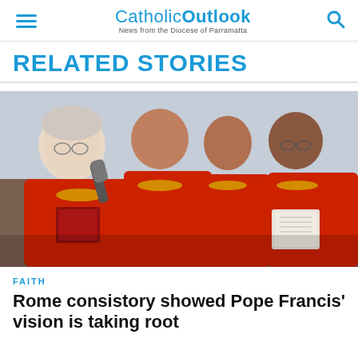CatholicOutlook — News from the Diocese of Parramatta
RELATED STORIES
[Figure (photo): Several Catholic cardinals dressed in red vestments and gold chains reading from books at a microphone during a consistory ceremony in Rome.]
FAITH
Rome consistory showed Pope Francis' vision is taking root